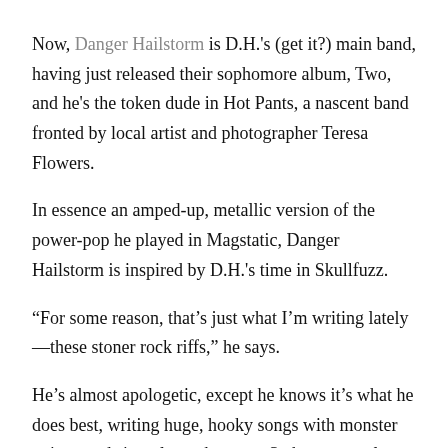Now, Danger Hailstorm is D.H.'s (get it?) main band, having just released their sophomore album, Two, and he's the token dude in Hot Pants, a nascent band fronted by local artist and photographer Teresa Flowers.
In essence an amped-up, metallic version of the power-pop he played in Magstatic, Danger Hailstorm is inspired by D.H.'s time in Skullfuzz.
“For some reason, that’s just what I’m writing lately—these stoner rock riffs,” he says.
He’s almost apologetic, except he knows it’s what he does best, writing huge, hooky songs with monster guitars and sing-along choruses. So he constantly catalogs riffs, which he either sells to music vendors like Ridgeline Productions/5 Alarm Music (with whom D.H. goes by the name Black Desert Snakes), or he banks them for future Danger Hailstorm